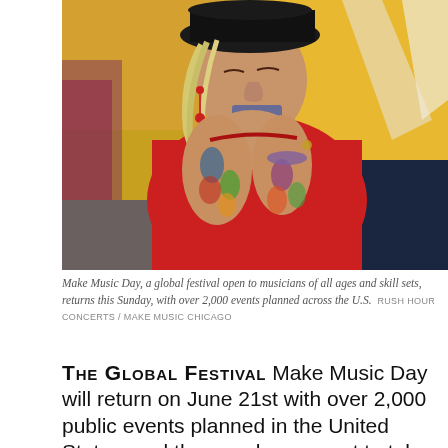[Figure (photo): An elderly woman wearing a black hat and red turtleneck sweater with heavily tattooed arms plays a harmonica. She is seated, photographed from the side. A blurred yellow background and other people are visible behind her.]
Make Music Day, a global festival open to musicians of all ages and skill sets, returns this Sunday, with over 2,000 events planned across the U.S.  RUSH HOUR CONCERTS / MAKE MUSIC CHICAGO
THE GLOBAL FESTIVAL Make Music Day will return on June 21st with over 2,000 public events planned in the United States, and thousands more set to take place in over 700 cities across 120 countries.